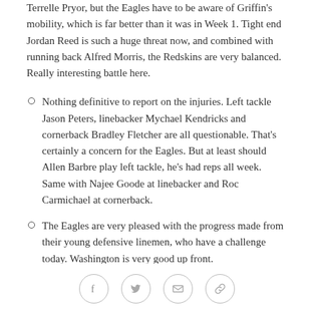Terrelle Pryor, but the Eagles have to be aware of Griffin's mobility, which is far better than it was in Week 1. Tight end Jordan Reed is such a huge threat now, and combined with running back Alfred Morris, the Redskins are very balanced. Really interesting battle here.
Nothing definitive to report on the injuries. Left tackle Jason Peters, linebacker Mychael Kendricks and cornerback Bradley Fletcher are all questionable. That's certainly a concern for the Eagles. But at least should Allen Barbre play left tackle, he's had reps all week. Same with Najee Goode at linebacker and Roc Carmichael at cornerback.
The Eagles are very pleased with the progress made from their young defensive linemen, who have a challenge today. Washington is very good up front.
Social share icons: Facebook, Twitter, Email, Link